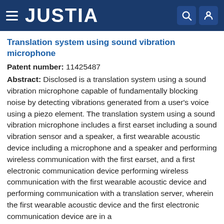JUSTIA
Translation system using sound vibration microphone
Patent number: 11425487
Abstract: Disclosed is a translation system using a sound vibration microphone capable of fundamentally blocking noise by detecting vibrations generated from a user's voice using a piezo element. The translation system using a sound vibration microphone includes a first earset including a sound vibration sensor and a speaker, a first wearable acoustic device including a microphone and a speaker and performing wireless communication with the first earset, and a first electronic communication device performing wireless communication with the first wearable acoustic device and performing communication with a translation server, wherein the first wearable acoustic device and the first electronic communication device are in a